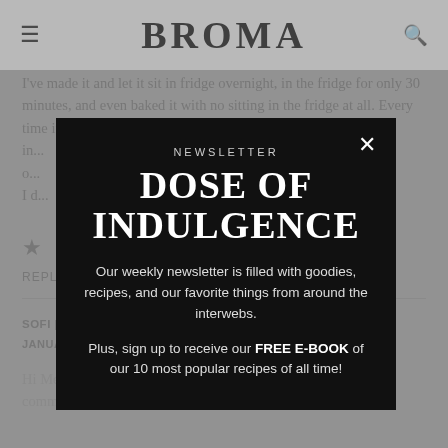BROMA
I've made it and let it sit in fridge overnight, in the fridge for only 30 minutes, and even baked it with no sitting in the fridge at all. Every time it turns out ju... in... o... I d...
★
REPLY
SOFI | BROMA BAKERY SAYS:
JANUARY 19, 2021 AT 2:59 PM
Hi Megan! Thank you so much for taking the time to leave a comment! I'm so happy you love this recipe as much as we do!
[Figure (screenshot): Newsletter modal popup with black background showing NEWSLETTER / DOSE OF INDULGENCE title, description about weekly newsletter filled with goodies, recipes, and favorite things from around the interwebs, plus sign-up to receive FREE E-BOOK of 10 most popular recipes. Modal has an X close button.]
NEWSLETTER
DOSE OF INDULGENCE
Our weekly newsletter is filled with goodies, recipes, and our favorite things from around the interwebs.
Plus, sign up to receive our FREE E-BOOK of our 10 most popular recipes of all time!